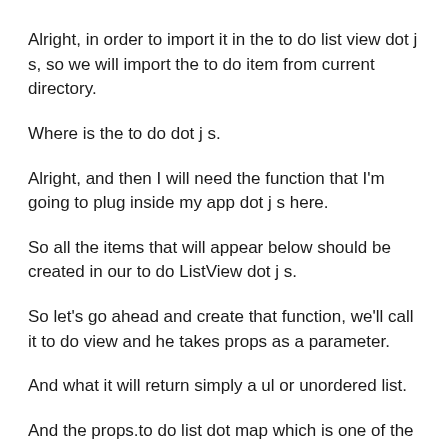Alright, in order to import it in the to do list view dot j s, so we will import the to do item from current directory.
Where is the to do dot j s.
Alright, and then I will need the function that I'm going to plug inside my app dot j s here.
So all the items that will appear below should be created in our to do ListView dot j s.
So let's go ahead and create that function, we'll call it to do view and he takes props as a parameter.
And what it will return simply a ul or unordered list.
And the props.to do list dot map which is one of the array methods like reduce filter and sort.